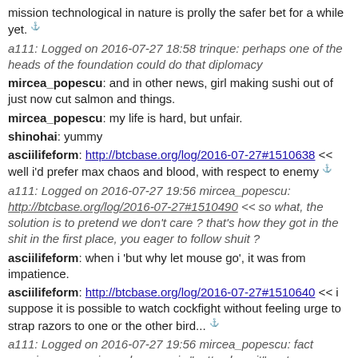mission technological in nature is prolly the safer bet for a while yet. [anchor]
a111: Logged on 2016-07-27 18:58 trinque: perhaps one of the heads of the foundation could do that diplomacy
mircea_popescu: and in other news, girl making sushi out of just now cut salmon and things.
mircea_popescu: my life is hard, but unfair.
shinohai: yummy
asciilifeform: http://btcbase.org/log/2016-07-27#1510638 << well i'd prefer max chaos and blood, with respect to enemy [anchor]
a111: Logged on 2016-07-27 19:56 mircea_popescu: http://btcbase.org/log/2016-07-27#1510490 << so what, the solution is to pretend we don't care ? that's how they got in the shit in the first place, you eager to follow shuit ?
asciilifeform: when i 'but why let mouse go', it was from impatience.
asciilifeform: http://btcbase.org/log/2016-07-27#1510640 << i suppose it is possible to watch cockfight without feeling urge to strap razors to one or the other bird... [anchor]
a111: Logged on 2016-07-27 19:56 mircea_popescu: fact remains, your universal answer is "gotta clean it". not everything's made to be clean.
asciilifeform: http://btcbase.org/log/2016-07-27#1510643 << the extra special lul is that the crapolade ~never~ worked! [anchor]
a111: Logged on 2016-07-27 19:58 mircea_popescu: